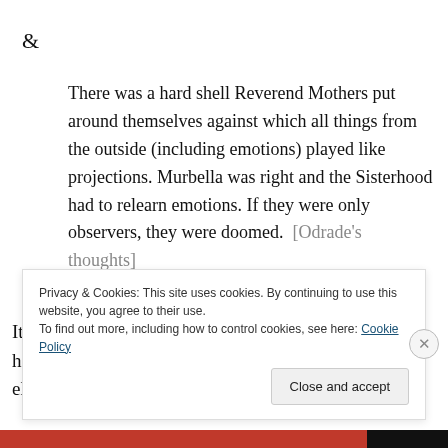&
There was a hard shell Reverend Mothers put around themselves against which all things from the outside (including emotions) played like projections. Murbella was right and the Sisterhood had to relearn emotions. If they were only observers, they were doomed.  [Odrade's thoughts]
It's hard not to see a possible rumination of Herbert here on the death of his wife, something that occurs elsewhere
Privacy & Cookies: This site uses cookies. By continuing to use this website, you agree to their use.
To find out more, including how to control cookies, see here: Cookie Policy